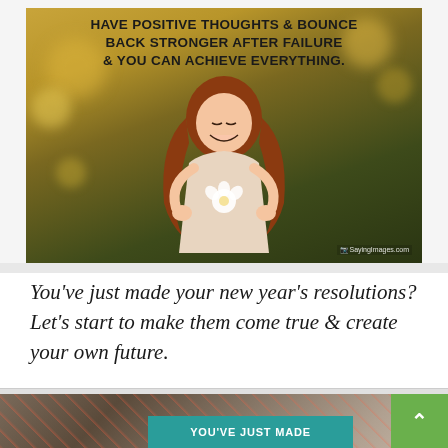[Figure (photo): A smiling red-haired girl holding a white flower, standing against a warm bokeh background of golden autumn colors. Overlaid text reads: HAVE POSITIVE THOUGHTS & BOUNCE BACK STRONGER AFTER FAILURE & YOU CAN ACHIEVE EVERYTHING. SayingImages.com watermark.]
You’ve just made your new year’s resolutions? Let’s start to make them come true & create your own future.
[Figure (photo): Partial view of a photo showing people against a graffiti wall, with a teal banner reading YOU'VE JUST MADE and a green scroll-to-top button with an up arrow.]